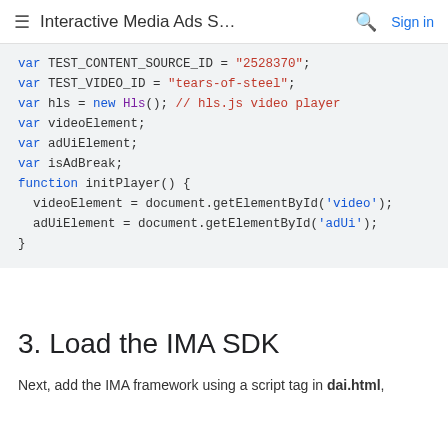≡ Interactive Media Ads S…  🔍  Sign in
var TEST_CONTENT_SOURCE_ID = "2528370";
var TEST_VIDEO_ID = "tears-of-steel";

var hls = new Hls(); // hls.js video player
var videoElement;
var adUiElement;
var isAdBreak;

function initPlayer() {
  videoElement = document.getElementById('video');
  adUiElement = document.getElementById('adUi');
}
3. Load the IMA SDK
Next, add the IMA framework using a script tag in dai.html,